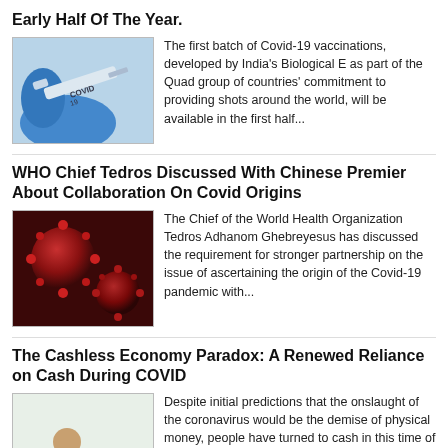Early Half Of The Year.
[Figure (photo): A gloved hand holding a Covid-19 vaccination syringe]
The first batch of Covid-19 vaccinations, developed by India's Biological E as part of the Quad group of countries' commitment to providing shots around the world, will be available in the first half...
WHO Chief Tedros Discussed With Chinese Premier About Collaboration On Covid Origins
[Figure (photo): Close-up illustration of coronavirus particles on a red-brown background]
The Chief of the World Health Organization Tedros Adhanom Ghebreyesus has discussed the requirement for stronger partnership on the issue of ascertaining the origin of the Covid-19 pandemic with...
The Cashless Economy Paradox: A Renewed Reliance on Cash During COVID
[Figure (photo): Person in red shirt at a cashless payment terminal with a plant in the background]
Despite initial predictions that the onslaught of the coronavirus would be the demise of physical money, people have turned to cash in this time of uncertainty. Historically, the amount of cash in...